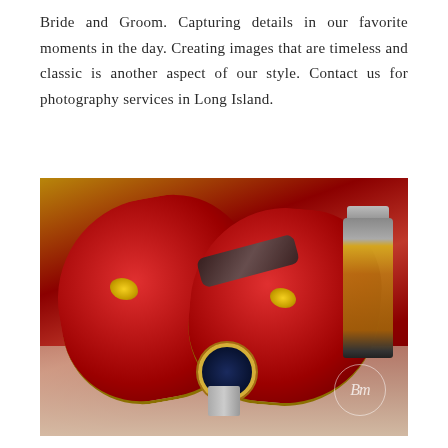Bride and Groom. Capturing details in our favorite moments in the day. Creating images that are timeless and classic is another aspect of our style. Contact us for photography services in Long Island.
[Figure (photo): Wedding detail photo showing a pair of red velvet loafers with gold embellishments, a luxury watch, sunglasses, and a cologne/perfume bottle arranged on a light surface. A photographer's watermark logo is visible in the bottom-right corner.]